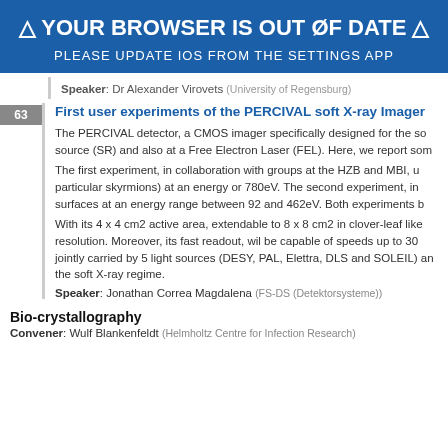[Figure (other): Browser out of date warning banner with blue background: '⚠ YOUR BROWSER IS OUT OF DATE ⚠' and 'PLEASE UPDATE IOS FROM THE SETTINGS APP']
Speaker: Dr Alexander Virovets (University of Regensburg)
63  First user experiments of the PERCIVAL soft X-ray Imager
The PERCIVAL detector, a CMOS imager specifically designed for the so source (SR) and also at a Free Electron Laser (FEL). Here, we report som
The first experiment, in collaboration with groups at the HZB and MBI, u particular skyrmions) at an energy or 780eV. The second experiment, in surfaces at an energy range between 92 and 462eV. Both experiments b
With its 4 x 4 cm2 active area, extendable to 8 x 8 cm2 in clover-leaf like resolution. Moreover, its fast readout, wil be capable of speeds up to 30 jointly carried by 5 light sources (DESY, PAL, Elettra, DLS and SOLEIL) an the soft X-ray regime.
Speaker: Jonathan Correa Magdalena (FS-DS (Detektorsysteme))
Bio-crystallography
Convener: Wulf Blankenfeldt (Helmholtz Centre for Infection Research)